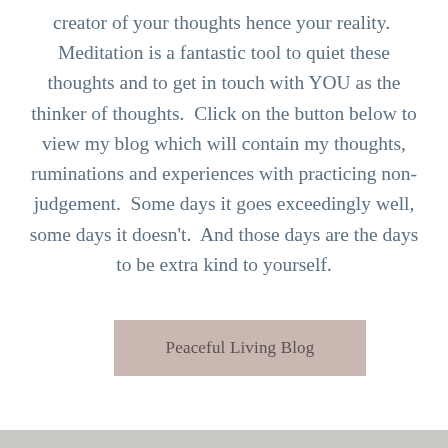creator of your thoughts hence your reality.  Meditation is a fantastic tool to quiet these thoughts and to get in touch with YOU as the thinker of thoughts.  Click on the button below to view my blog which will contain my thoughts, ruminations and experiences with practicing non-judgement.  Some days it goes exceedingly well, some days it doesn't.  And those days are the days to be extra kind to yourself.
Peaceful Living Blog